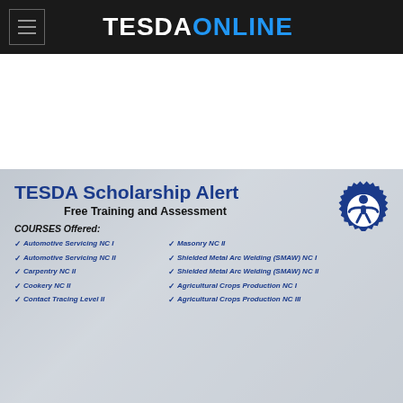TESDAONLINE
[Figure (infographic): TESDA Scholarship Alert banner with TESDA logo, courses offered in two columns with checkmarks]
TESDA Scholarship Alert
Free Training and Assessment
COURSES Offered:
Automotive Servicing NC I
Automotive Servicing NC II
Carpentry NC II
Cookery NC II
Contact Tracing Level II
Masonry NC II
Shielded Metal Arc Welding (SMAW) NC I
Shielded Metal Arc Welding (SMAW) NC II
Agricultural Crops Production NC I
Agricultural Crops Production NC III